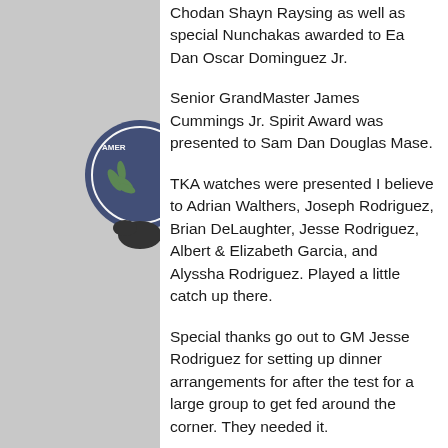Chodan Shayn Raysing as well as special Nunchakas awarded to Ea Dan Oscar Dominguez Jr.
Senior GrandMaster James Cummings Jr. Spirit Award was presented to Sam Dan Douglas Mase.
TKA watches were presented I believe to Adrian Walthers, Joseph Rodriguez, Brian DeLaughter, Jesse Rodriguez, Albert & Elizabeth Garcia, and Alyssha Rodriguez. Played a little catch up there.
Special thanks go out to GM Jesse Rodriguez for setting up dinner arrangements for after the test for a large group to get fed around the corner. They needed it.
Test went well, all personnel that tested advanced to their next level. Please